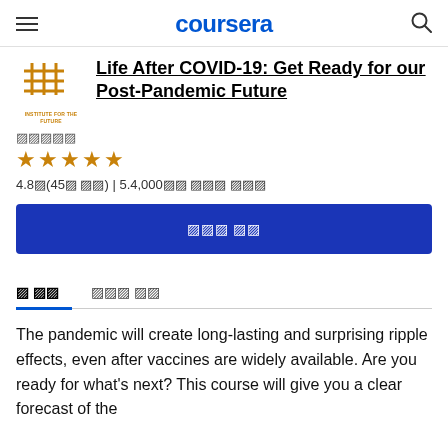coursera
Life After COVID-19: Get Ready for our Post-Pandemic Future
★★★★★
4.8점(45개 평점) | 5.4,000명 이미 등록됨
무료로 등록
소 개     강좌 정보
The pandemic will create long-lasting and surprising ripple effects, even after vaccines are widely available. Are you ready for what's next? This course will give you a clear forecast of the